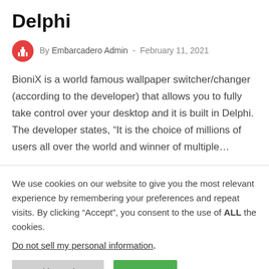Delphi
By Embarcadero Admin  -  February 11, 2021
BioniX is a world famous wallpaper switcher/changer (according to the developer) that allows you to fully take control over your desktop and it is built in Delphi. The developer states, “It is the choice of millions of users all over the world and winner of multiple…
We use cookies on our website to give you the most relevant experience by remembering your preferences and repeat visits. By clicking “Accept”, you consent to the use of ALL the cookies.
Do not sell my personal information.
Cookie Settings | Accept